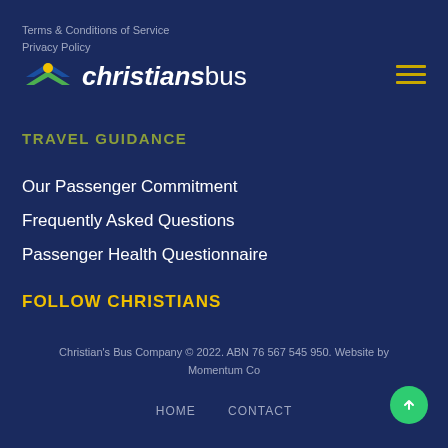Terms & Conditions of Service
Privacy Policy
[Figure (logo): ChristiansBus logo with blue and green chevron icon and the text 'christians' bold italic and 'bus' light weight]
TRAVEL GUIDANCE
Our Passenger Commitment
Frequently Asked Questions
Passenger Health Questionnaire
FOLLOW CHRISTIANS
Christian's Bus Company © 2022. ABN 76 567 545 950. Website by Momentum Co
HOME   CONTACT